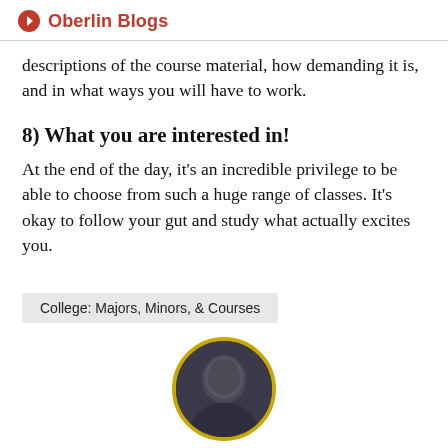Oberlin Blogs
descriptions of the course material, how demanding it is, and in what ways you will have to work.
8) What you are interested in!
At the end of the day, it’s an incredible privilege to be able to choose from such a huge range of classes. It’s okay to follow your gut and study what actually excites you.
College: Majors, Minors, & Courses
[Figure (photo): Circular cropped photo of a person, partially visible at bottom of page, with a yellow/gold circular border.]